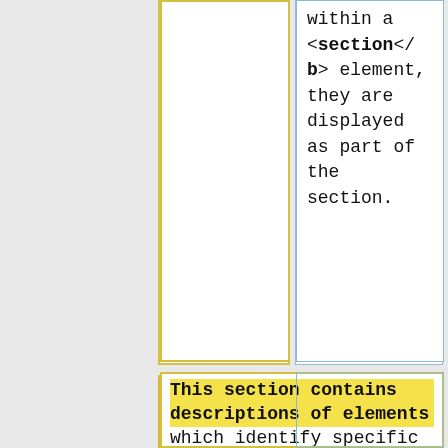within a <b>section</b> element, they are displayed as part of the section.
This section contains descriptions of elements which identify specific kinds of information. The RSNA MIRC software renders these